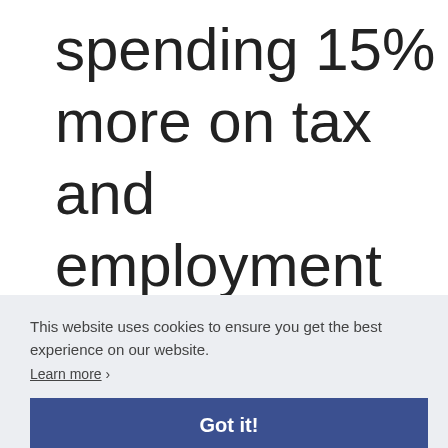spending 15% more on tax and employment obligations when
compared to
2011
This website uses cookies to ensure you get the best experience on our website.
Learn more
Got it!
The Impact of
Government